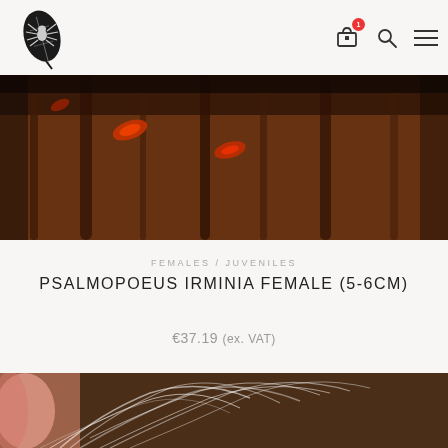Spider shop website header with logo, cart icon (1 item), search icon, and menu icon
[Figure (photo): Close-up macro photo of a tarantula on bark/wood with orange-red markings visible]
FEMALES / JUVENILES
PSALMOPOEUS IRMINIA FEMALE (5-6CM)
€37.19 (ex. VAT)
[Figure (photo): Close-up photo of tarantula silk/web strands with pink/skin-toned background]